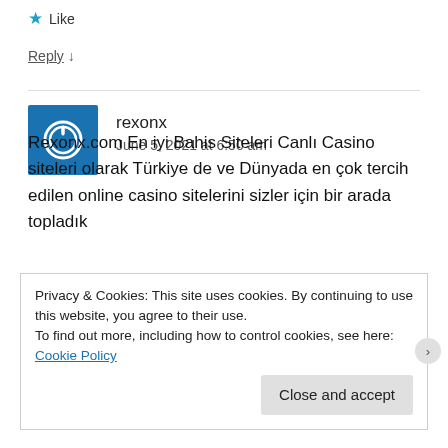★ Like
Reply ↓
rexonx
June 5, 2021 at 6:50 am
Rexonx.com En iyi Bahis Siteleri Canlı Casino siteleri olarak Türkiye de ve Dünyada en çok tercih edilen online casino sitelerini sizler için bir arada topladık
Privacy & Cookies: This site uses cookies. By continuing to use this website, you agree to their use.
To find out more, including how to control cookies, see here: Cookie Policy